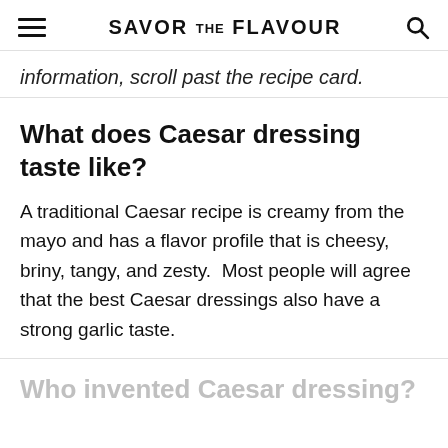SAVOR THE FLAVOUR
information, scroll past the recipe card.
What does Caesar dressing taste like?
A traditional Caesar recipe is creamy from the mayo and has a flavor profile that is cheesy, briny, tangy, and zesty.  Most people will agree that the best Caesar dressings also have a strong garlic taste.
Who invented Caesar dressing?